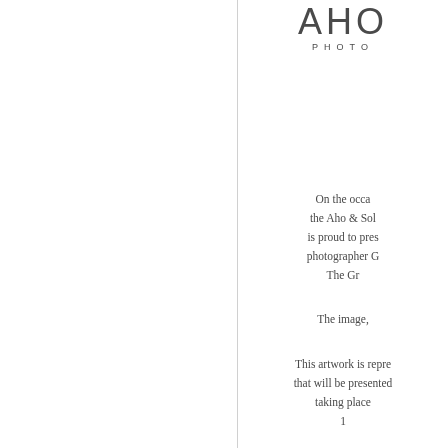AHO PHOTO
On the occa the Aho & Sol is proud to pres photographer G The Gr
The image,
This artwork is repre that will be presented taking place 1